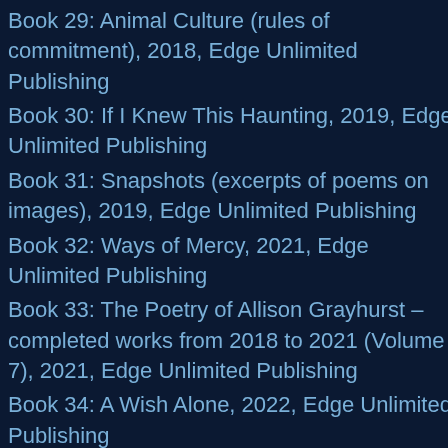[Figure (photo): Dark monochrome photograph of tree bark or similar textured surface, showing cracks and peeling layers in dark grey tones, occupying the right half and lower portions of the page.]
Book 29: Animal Culture (rules of commitment), 2018, Edge Unlimited Publishing
Book 30: If I Knew This Haunting, 2019, Edge Unlimited Publishing
Book 31: Snapshots (excerpts of poems on images), 2019, Edge Unlimited Publishing
Book 32: Ways of Mercy, 2021, Edge Unlimited Publishing
Book 33: The Poetry of Allison Grayhurst – completed works from 2018 to 2021 (Volume 7), 2021, Edge Unlimited Publishing
Book 34: A Wish Alone, 2022, Edge Unlimited Publishing
Tadpoles Find the Sun, 2020, Cyberwit